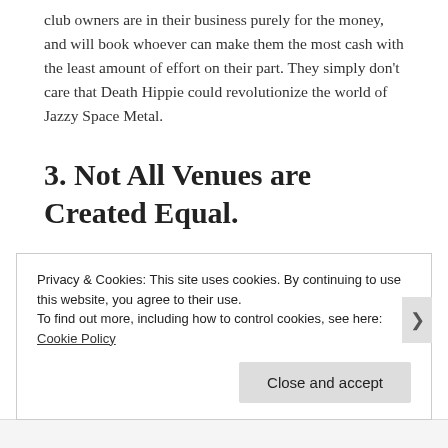club owners are in their business purely for the money, and will book whoever can make them the most cash with the least amount of effort on their part. They simply don't care that Death Hippie could revolutionize the world of Jazzy Space Metal.
3. Not All Venues are Created Equal.
Privacy & Cookies: This site uses cookies. By continuing to use this website, you agree to their use.
To find out more, including how to control cookies, see here: Cookie Policy